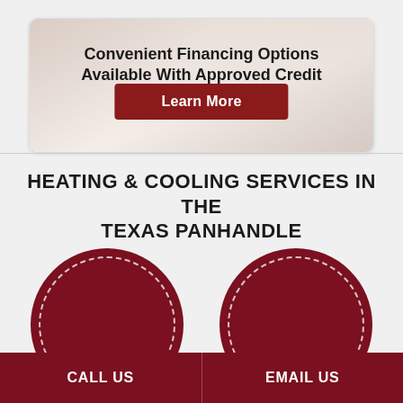[Figure (illustration): White rounded card with background showing hands and a pen/document, containing financing offer text and a Learn More button]
Convenient Financing Options Available With Approved Credit
Learn More
HEATING & COOLING SERVICES IN THE TEXAS PANHANDLE
[Figure (illustration): Two dark red circular icons with white dashed border outlines, side by side, partially cropped at bottom]
CALL US
EMAIL US